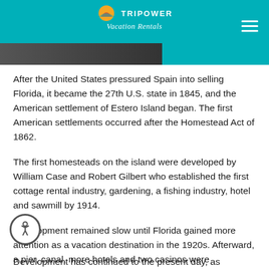TriPower Vacation Rentals
[Figure (photo): Dark photo strip visible behind the header bar]
After the United States pressured Spain into selling Florida, it became the 27th U.S. state in 1845, and the American settlement of Estero Island began. The first American settlements occurred after the Homestead Act of 1862.
The first homesteads on the island were developed by William Case and Robert Gilbert who established the first cottage rental industry, gardening, a fishing industry, hotel and sawmill by 1914.
Development remained slow until Florida gained more attention as a vacation destination in the 1920s. Afterward, a pier, canal, more hotels and two casinos were constructed. The island was further modernized in the 1950s and the local shrimping industry also took off, boosting the island's population.
Development has continued to the present day, as tourists...